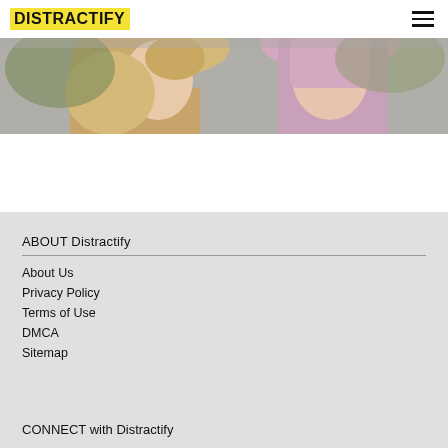[Figure (logo): Distractify logo with yellow highlight background and bold text]
[Figure (photo): Two women facing each other in conversation — one with blonde wavy hair, one with pink straight hair — outdoors]
ABOUT Distractify
About Us
Privacy Policy
Terms of Use
DMCA
Sitemap
CONNECT with Distractify